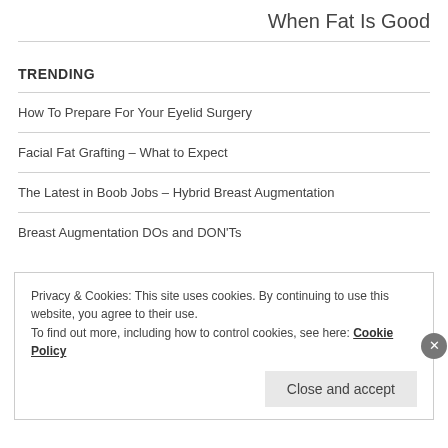When Fat Is Good
TRENDING
How To Prepare For Your Eyelid Surgery
Facial Fat Grafting – What to Expect
The Latest in Boob Jobs – Hybrid Breast Augmentation
Breast Augmentation DOs and DON'Ts
Privacy & Cookies: This site uses cookies. By continuing to use this website, you agree to their use.
To find out more, including how to control cookies, see here: Cookie Policy
Close and accept